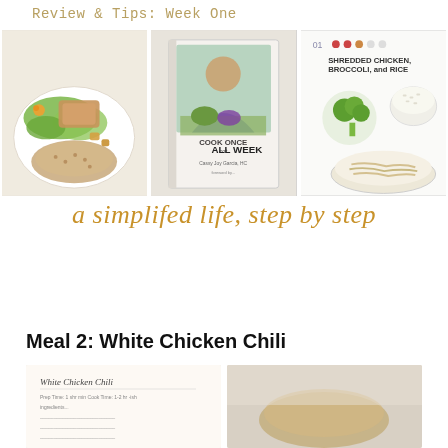Review & Tips: Week One
[Figure (photo): Three food/cookbook photos side by side: a plate with salad and grains, the Cook Once Eat All Week cookbook by Cassy Joy Garcia HC, and a cookbook page showing Shredded Chicken, Broccoli, and Rice with ingredient photos]
a simplifed life, step by step
Meal 2: White Chicken Chili
[Figure (photo): Two photos side by side: left shows a White Chicken Chili cookbook page with recipe text, right shows a partially visible food photo]